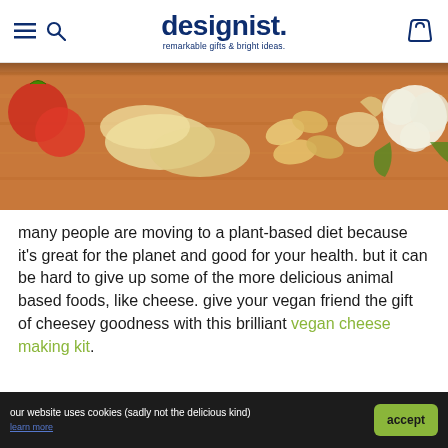designist. remarkable gifts & bright ideas.
[Figure (photo): Food photograph showing a wooden cutting board with various foods including tomatoes, sliced bread/crackers, cashews, ginger root, and cauliflower on the right side.]
many people are moving to a plant-based diet because it's great for the planet and good for your health. but it can be hard to give up some of the more delicious animal based foods, like cheese. give your vegan friend the gift of cheesey goodness with this brilliant vegan cheese making kit.
[Figure (illustration): Botanical illustration showing raspberries on the left and pink flowers (possibly bindweed or morning glory) on the right, on a light blue background.]
our website uses cookies (sadly not the delicious kind) learn more